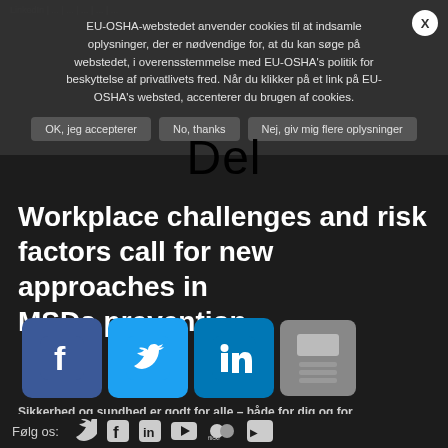EU-OSHA-webstedet anvender cookies til at indsamle oplysninger, der er nødvendige for, at du kan søge på webstedet, i overensstemmelse med EU-OSHA's politik for beskyttelse af privatlivets fred. Når du klikker på et link på EU-OSHA's websted, accenterer du brugen af cookies.
OK, jeg accepterer | No, thanks | Nej, giv mig flere oplysninger
Del
Workplace challenges and risk factors call for new approaches in MSDs prevention
Sitemap · Kontakt · Tilgængelighed · Log ind
Erklæring om beskyttelse...
Juridisk medd... RS...
[Figure (logo): Facebook, Twitter, LinkedIn, and Print share icons]
Sikkerhed og sundhed er godt for alle – både for dig og for arbejdspladsen.
Det Europæiske Arbejdsmiljøagentur | Et EU-agentur
Følg os: Twitter Facebook LinkedIn YouTube Flickr Vimeo icons